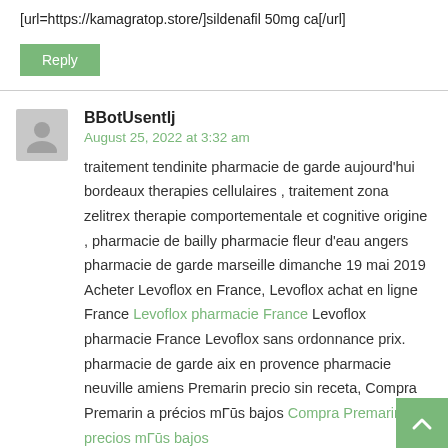[url=https://kamagratop.store/]sildenafil 50mg ca[/url]
Reply
BBotUsentlj
August 25, 2022 at 3:32 am
traitement tendinite pharmacie de garde aujourd'hui bordeaux therapies cellulaires , traitement zona zelitrex therapie comportementale et cognitive origine , pharmacie de bailly pharmacie fleur d'eau angers pharmacie de garde marseille dimanche 19 mai 2019 Acheter Levoflox en France, Levoflox achat en ligne France Levoflox pharmacie France Levoflox pharmacie France Levoflox sans ordonnance prix. pharmacie de garde aix en provence pharmacie neuville amiens Premarin precio sin receta, Compra Premarin a precios más bajos Compra Premarin a precios más bajos